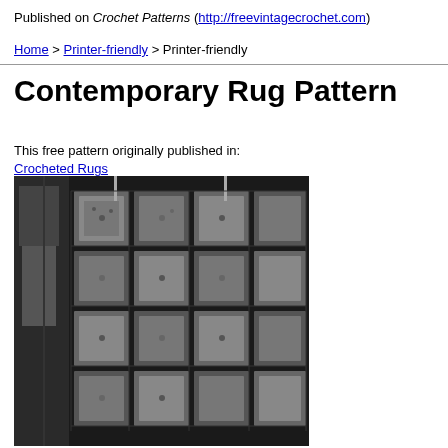Published on Crochet Patterns (http://freevintagecrochet.com)
Home > Printer-friendly > Printer-friendly
Contemporary Rug Pattern
This free pattern originally published in:
Crocheted Rugs
[Figure (photo): Black and white photograph of a crocheted rug with a grid of square motifs, placed on a floor next to furniture.]